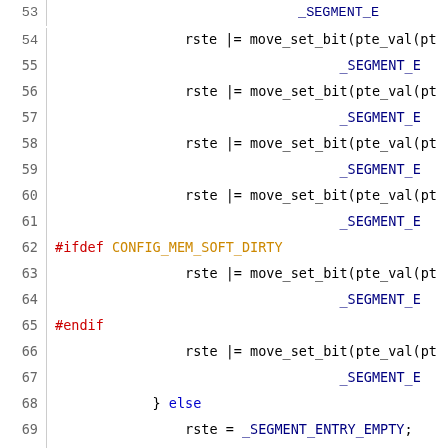Source code listing lines 53-74, kernel/s390 memory management code
53    _SEGMENT_E
54        rste |= move_set_bit(pte_val(pte
55                _SEGMENT_E
56        rste |= move_set_bit(pte_val(pte
57                _SEGMENT_E
58        rste |= move_set_bit(pte_val(pte
59                _SEGMENT_E
60        rste |= move_set_bit(pte_val(pte
61                _SEGMENT_E
62 #ifdef CONFIG_MEM_SOFT_DIRTY
63        rste |= move_set_bit(pte_val(pte
64                _SEGMENT_E
65 #endif
66        rste |= move_set_bit(pte_val(pte
67                _SEGMENT_E
68        } else
69            rste = _SEGMENT_ENTRY_EMPTY;
70        return rste;
71 }
72
73 static inline pte_t __rste_to_pte(unsigned long
74 {